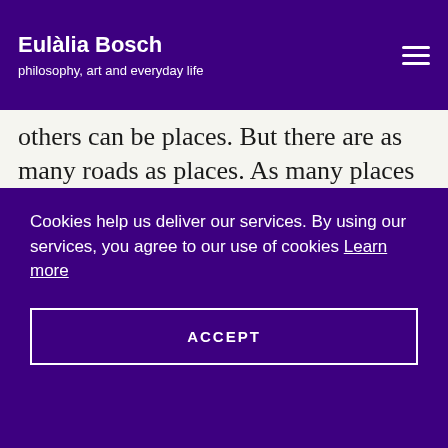Eulàlia Bosch
philosophy, art and everyday life
others can be places. But there are as many roads as places. As many places as voids. Works of art thus become ways of access to works of art. Painting generates more painting but demands literature, just as poems can become songs and the movement of the dance is perpetuated in sculptural form. The actor who recites draws in the chiaroscuro of the stage just as the ceramist waits restlessly for the embodied colour that the piece in the oven will take on.
Cookies help us deliver our services. By using our services, you agree to our use of cookies Learn more
ACCEPT